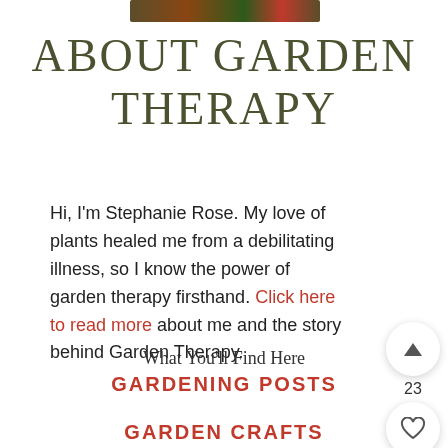[Figure (photo): Partial view of a garden/flower photo at the top of the page]
ABOUT GARDEN THERAPY
Hi, I'm Stephanie Rose. My love of plants healed me from a debilitating illness, so I know the power of garden therapy firsthand. Click here to read more about me and the story behind Garden Therapy.
What You'll Find Here
GARDENING POSTS
GARDEN CRAFTS